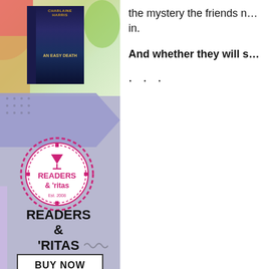[Figure (illustration): Left column advertisement for Readers and Ritas 2022 book club event. Top shows a book cover for 'An Easy Death' by Charlaine Harris against a food/drink background. Below is the Readers & 'ritas circular logo stamp in magenta/pink. Below the logo is bold text reading READERS & 'RITAS 2022 NOVEMBER 12TH with a BUY NOW button.]
the mystery the friends n... in.
And whether they will s...
...